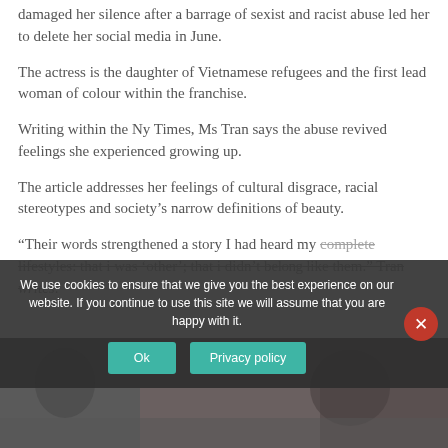damaged her silence after a barrage of sexist and racist abuse led her to delete her social media in June.
The actress is the daughter of Vietnamese refugees and the first lead woman of colour within the franchise.
Writing within the Ny Times, Ms Tran says the abuse revived feelings she experienced growing up.
The article addresses her feelings of cultural disgrace, racial stereotypes and society's narrow definitions of beauty.
“Their words strengthened a story I had heard my complete lifestyles: that i was ‘other’; that i didn't b... like them.” Tran writes.
[Figure (photo): Photo of people, partially obscured by cookie consent overlay]
We use cookies to ensure that we give you the best experience on our website. If you continue to use this site we will assume that you are happy with it.